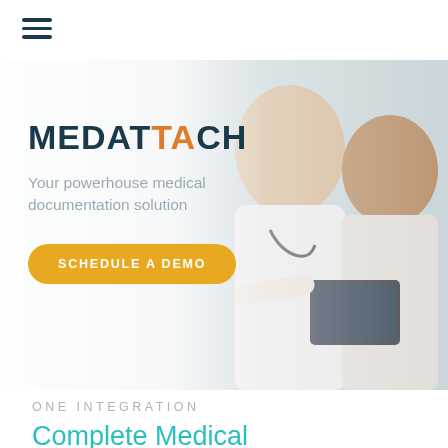≡ (hamburger menu)
[Figure (photo): A female doctor/nurse wearing a white coat and stethoscope shows a tablet to an elderly male patient. Both are wearing glasses. The background is light/white.]
MEDATTACH
Your powerhouse medical documentation solution
SCHEDULE A DEMO
ONE INTEGRATION
Complete Medical